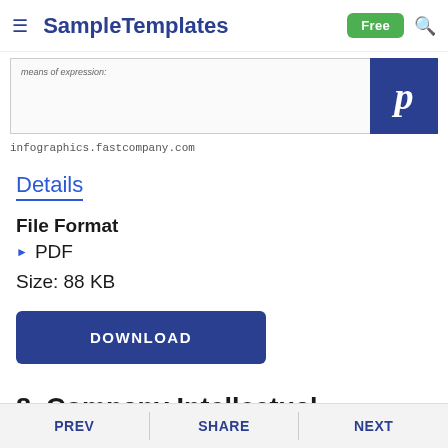SampleTemplates | Free
[Figure (screenshot): Partial view of a document preview image with text 'means of expression:' and a Pinterest logo icon on the right side]
infographics.fastcompany.com
Details
File Format
PDF
Size: 88 KB
DOWNLOAD
8. Company Intellectual Property Assignment
PREV   SHARE   NEXT